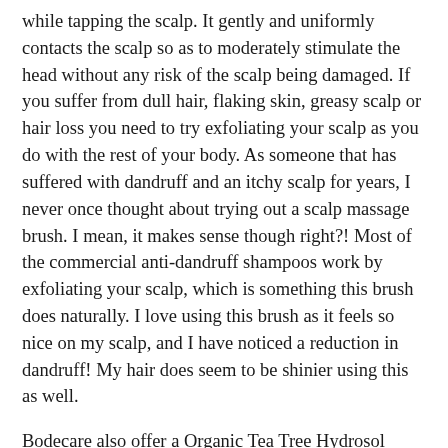while tapping the scalp. It gently and uniformly contacts the scalp so as to moderately stimulate the head without any risk of the scalp being damaged. If you suffer from dull hair, flaking skin, greasy scalp or hair loss you need to try exfoliating your scalp as you do with the rest of your body. As someone that has suffered with dandruff and an itchy scalp for years, I never once thought about trying out a scalp massage brush. I mean, it makes sense though right?! Most of the commercial anti-dandruff shampoos work by exfoliating your scalp, which is something this brush does naturally. I love using this brush as it feels so nice on my scalp, and I have noticed a reduction in dandruff! My hair does seem to be shinier using this as well.
Bodecare also offer a Organic Tea Tree Hydrosol which is essential for disinfecting your brush after each use. Tea Tree is a powerful bactericide, killing a broad spectrum of bacteria and some stubborn fungi. If you do not clean your brush and allow your body brush to dry completely, you are more than likely spreading bacteria back on your skin when dry body